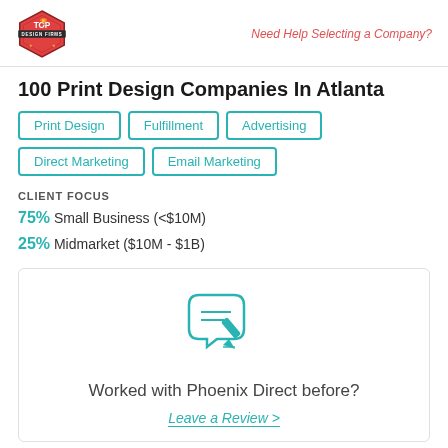Need Help Selecting a Company?
100 Print Design Companies In Atlanta
Print Design
Fulfillment
Advertising
Direct Marketing
Email Marketing
CLIENT FOCUS
75% Small Business (<$10M)
25% Midmarket ($10M - $1B)
[Figure (illustration): Chat/review icon showing speech bubble with pencil and document]
Worked with Phoenix Direct before?
Leave a Review >